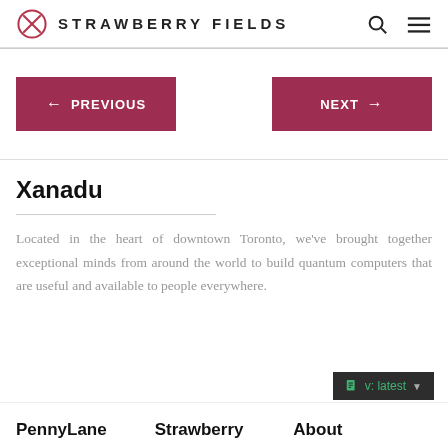STRAWBERRY FIELDS
[Figure (logo): Strawberry Fields logo with a circled X icon and text STRAWBERRY FIELDS]
← PREVIOUS
NEXT →
Xanadu
Located in the heart of downtown Toronto, we've brought together exceptional minds from around the world to build quantum computers that are useful and available to people everywhere.
v: latest
PennyLane
Strawberry
About